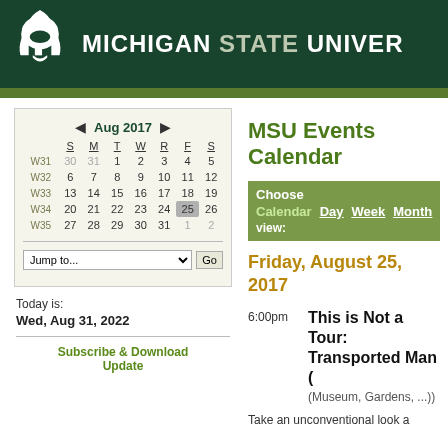Michigan State University
MSU Events Calendar
[Figure (other): Calendar navigation widget for August 2017 with week numbers W31-W35]
Today is:
Wed, Aug 31, 2022
Subscribe & Download Update
Choose Calendar view: Day Week Month Search
Friday, August 25, 2017
6:00pm
This is Not a Tour: Transported Man (Museum, Gardens, ...)
Take an unconventional look a...